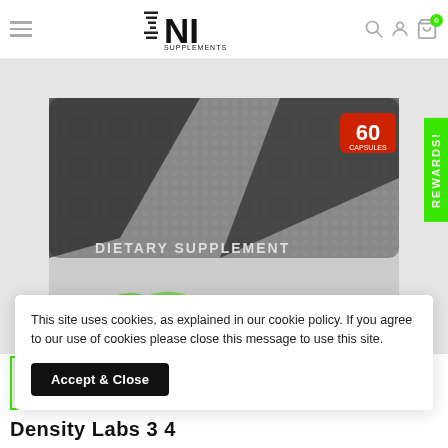NI Supplements .com
[Figure (photo): Close-up of a supplement bottle with green capsules/pills visible at the bottom, label reads DIETARY SUPPLEMENT with a red 60 capsules badge.]
[Figure (photo): Small thumbnail image of the supplement bottle]
This site uses cookies, as explained in our cookie policy. If you agree to our use of cookies please close this message to use this site.
Accept & Close
Density Labs 3 4